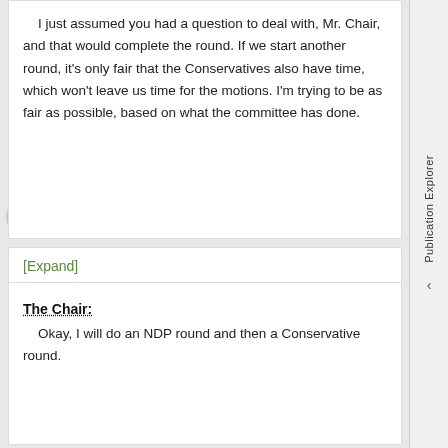I just assumed you had a question to deal with, Mr. Chair, and that would complete the round. If we start another round, it's only fair that the Conservatives also have time, which won't leave us time for the motions. I'm trying to be as fair as possible, based on what the committee has done.
[Expand]
The Chair:
Okay, I will do an NDP round and then a Conservative round.
[Expand]